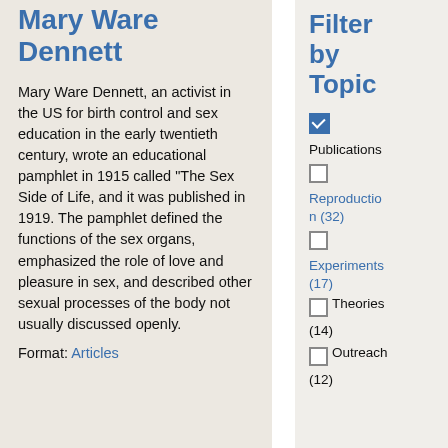Mary Ware Dennett
Mary Ware Dennett, an activist in the US for birth control and sex education in the early twentieth century, wrote an educational pamphlet in 1915 called “The Sex Side of Life, and it was published in 1919. The pamphlet defined the functions of the sex organs, emphasized the role of love and pleasure in sex, and described other sexual processes of the body not usually discussed openly.
Format: Articles
Filter by Topic
Publications (checked)
Reproduction (32)
Experiments (17)
Theories (14)
Outreach (12)